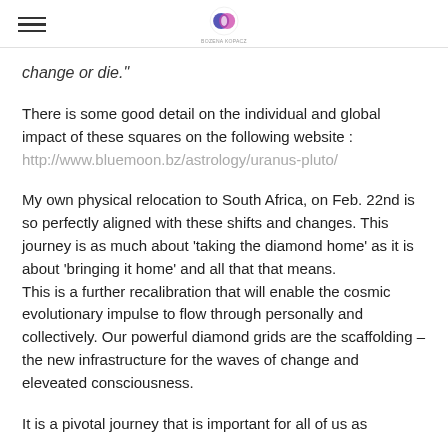[hamburger menu icon] [logo]
change or die."
There is some good detail on the individual and global impact of these squares on the following website : http://www.bluemoon.bz/astrology/uranus-pluto/
My own physical relocation to South Africa, on Feb. 22nd is so perfectly aligned with these shifts and changes. This journey is as much about 'taking the diamond home' as it is about 'bringing it home' and all that that means. This is a further recalibration that will enable the cosmic evolutionary impulse to flow through personally and collectively. Our powerful diamond grids are the scaffolding – the new infrastructure for the waves of change and eleveated consciousness.
It is a pivotal journey that is important for all of us as